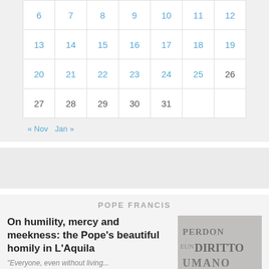| 6 | 7 | 8 | 9 | 10 | 11 | 12 |
| 13 | 14 | 15 | 16 | 17 | 18 | 19 |
| 20 | 21 | 22 | 23 | 24 | 25 | 26 |
| 27 | 28 | 29 | 30 | 31 |  |  |
« Nov   Jan »
POPE FRANCIS
On humility, mercy and meekness: the Pope's beautiful homily in L'Aquila
"Everyone, even without living...